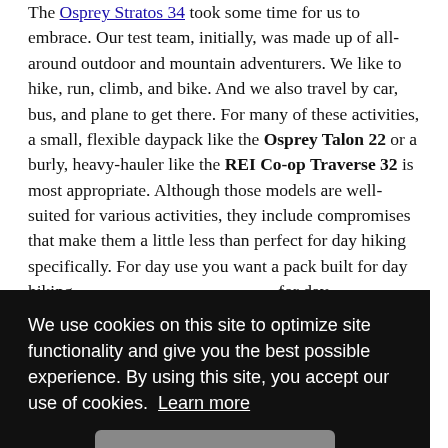The Osprey Stratos 34 took some time for us to embrace. Our test team, initially, was made up of all-around outdoor and mountain adventurers. We like to hike, run, climb, and bike. And we also travel by car, bus, and plane to get there. For many of these activities, a small, flexible daypack like the Osprey Talon 22 or a burly, heavy-hauler like the REI Co-op Traverse 32 is most appropriate. Although those models are well-suited for various activities, they include compromises that make them a little less than perfect for day hiking specifically. For day use you want a pack built for day [hiking]...frame...the...ation...loads...nefits...access easy.
We use cookies on this site to optimize site functionality and give you the best possible experience. By using this site, you accept our use of cookies. Learn more